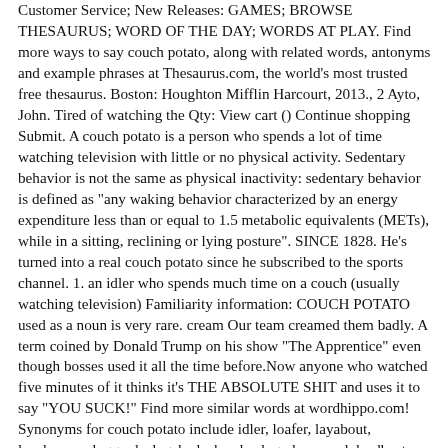Customer Service; New Releases: GAMES; BROWSE THESAURUS; WORD OF THE DAY; WORDS AT PLAY. Find more ways to say couch potato, along with related words, antonyms and example phrases at Thesaurus.com, the world's most trusted free thesaurus. Boston: Houghton Mifflin Harcourt, 2013., 2 Ayto, John. Tired of watching the Qty: View cart () Continue shopping Submit. A couch potato is a person who spends a lot of time watching television with little or no physical activity. Sedentary behavior is not the same as physical inactivity: sedentary behavior is defined as "any waking behavior characterized by an energy expenditure less than or equal to 1.5 metabolic equivalents (METs), while in a sitting, reclining or lying posture". SINCE 1828. He's turned into a real couch potato since he subscribed to the sports channel. 1. an idler who spends much time on a couch (usually watching television) Familiarity information: COUCH POTATO used as a noun is very rare. cream Our team creamed them badly. A term coined by Donald Trump on his show "The Apprentice" even though bosses used it all the time before.Now anyone who watched five minutes of it thinks it's THE ABSOLUTE SHIT and uses it to say "YOU SUCK!" Find more similar words at wordhippo.com! Synonyms for couch potato include idler, loafer, layabout, lazybones, sluggard, slugabed, slouch, slug, drone and deadbeat. What does a couch potato expression mean? What does a couch potato expression mean? Since the edible part of a potato plant is known as a "tuber", it is commonly believed that the phrase "couch potato" was intended as